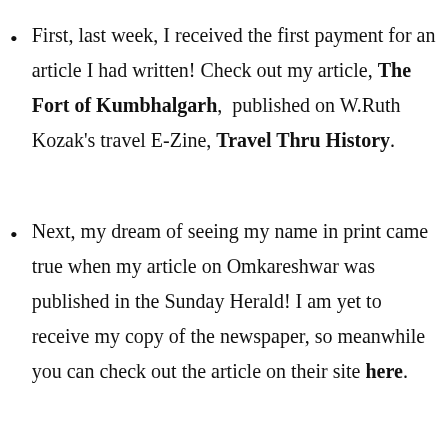First, last week, I received the first payment for an article I had written! Check out my article, The Fort of Kumbhalgarh,  published on W.Ruth Kozak's travel E-Zine, Travel Thru History.
Next, my dream of seeing my name in print came true when my article on Omkareshwar was published in the Sunday Herald! I am yet to receive my copy of the newspaper, so meanwhile you can check out the article on their site here.